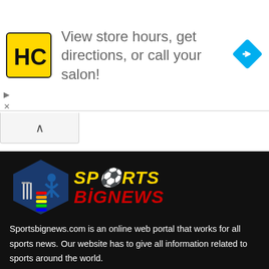[Figure (advertisement): Haircut (HC) yellow logo with text: View store hours, get directions, or call your salon! with a blue direction arrow diamond icon]
[Figure (logo): Sports Big News logo with hexagonal dark blue background, cricket stumps and player silhouette, colorful stacked bars forming S, soccer ball in O. 'SPORTS' in gold italic, 'BIGNEWS' in red italic text.]
Sportsbignews.com is an online web portal that works for all sports news. Our website has to give all information related to sports around the world.